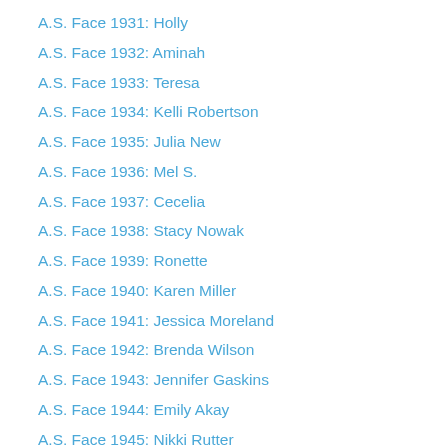A.S. Face 1931: Holly
A.S. Face 1932: Aminah
A.S. Face 1933: Teresa
A.S. Face 1934: Kelli Robertson
A.S. Face 1935: Julia New
A.S. Face 1936: Mel S.
A.S. Face 1937: Cecelia
A.S. Face 1938: Stacy Nowak
A.S. Face 1939: Ronette
A.S. Face 1940: Karen Miller
A.S. Face 1941: Jessica Moreland
A.S. Face 1942: Brenda Wilson
A.S. Face 1943: Jennifer Gaskins
A.S. Face 1944: Emily Akay
A.S. Face 1945: Nikki Rutter
A.S. Face 1946: Becca Richards
A.S. Face 1947: Melissa
A.S. Face 1948: Lisa MacLellan
A.S. Face 1949: Ameo Lynch
A.S. Face 1950: Pamela Coyle